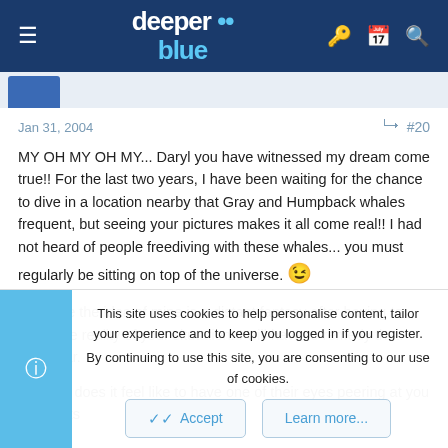deeper blue (logo) — navigation header
Jan 31, 2004  #20
MY OH MY OH MY... Daryl you have witnessed my dream come true!! For the last two years, I have been waiting for the chance to dive in a location nearby that Gray and Humpback whales frequent, but seeing your pictures makes it all come real!! I had not heard of people freediving with these whales... you must regularly be sitting on top of the universe. 😉

I feel like the idea of mine is a distant fantasy after having to admit the reality of your situtation. I will have to remedy that! This year.

So what does it feel like to have one of their eyes peering at you as it drifts
This site uses cookies to help personalise content, tailor your experience and to keep you logged in if you register.
By continuing to use this site, you are consenting to our use of cookies.
Accept   Learn more...